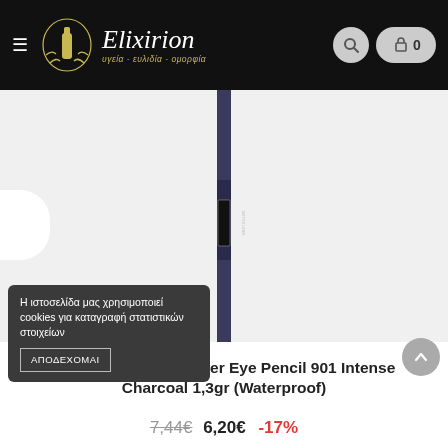Elixirion — υγεία - ευλιδία - ομορφία
[Figure (photo): Maybelline Tattoo Liner Eye Pencil product photo — a slim dark navy/black pencil eyeliner with 'TATTOO LINER' text on label, shown vertically against a light grey background]
Η ιστοσελίδα μας χρησιμοποιεί cookies για καταγραφή στατιστικών στοιχείων
ΑΠΟΔΕΧΟΜΑΙ
Maybelline Tattoo Liner Eye Pencil 901 Intense Charcoal 1,3gr (Waterproof)
7,44€  6,20€  -17%